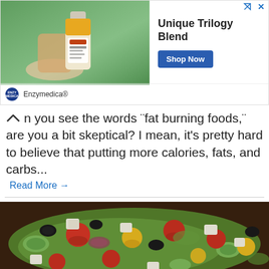[Figure (other): Advertisement banner for Enzymedica Unique Trilogy Blend supplement, showing a hand holding a supplement bottle against a green background, with 'Shop Now' button]
n you see the words "fat burning foods," are you a bit skeptical? I mean, it's pretty hard to believe that putting more calories, fats, and carbs...
Read More →
[Figure (photo): Greek salad photo with tomatoes, olives, feta cheese, cucumbers, and lettuce]